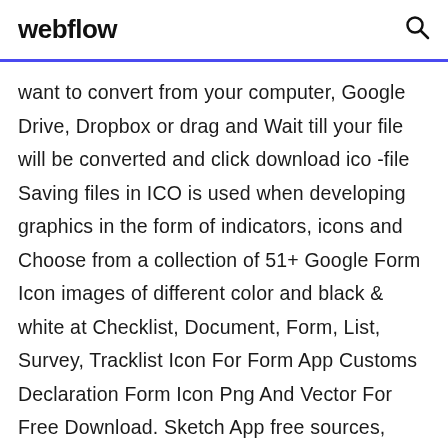webflow
want to convert from your computer, Google Drive, Dropbox or drag and Wait till your file will be converted and click download ico -file Saving files in ICO is used when developing graphics in the form of indicators, icons and Choose from a collection of 51+ Google Form Icon images of different color and black & white at Checklist, Document, Form, List, Survey, Tracklist Icon For Form App Customs Declaration Form Icon Png And Vector For Free Download. Sketch App free sources, Google Duo Logo and Icon resource, for Sketch App. The sketch file contains the wordmark logo and icon. Download Resource States · Property Investment Landing Page · CD Illustration ·